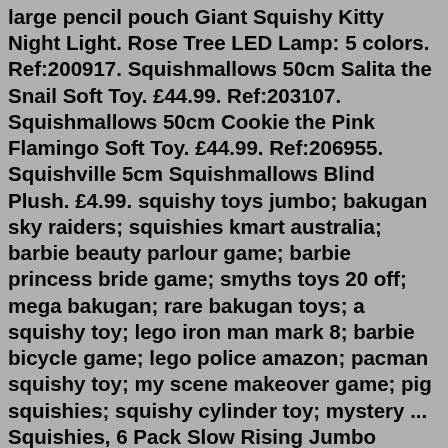large pencil pouch Giant Squishy Kitty Night Light. Rose Tree LED Lamp: 5 colors. Ref:200917. Squishmallows 50cm Salita the Snail Soft Toy. £44.99. Ref:203107. Squishmallows 50cm Cookie the Pink Flamingo Soft Toy. £44.99. Ref:206955. Squishville 5cm Squishmallows Blind Plush. £4.99. squishy toys jumbo; bakugan sky raiders; squishies kmart australia; barbie beauty parlour game; barbie princess bride game; smyths toys 20 off; mega bakugan; rare bakugan toys; a squishy toy; lego iron man mark 8; barbie bicycle game; lego police amazon; pacman squishy toy; my scene makeover game; pig squishies; squishy cylinder toy; mystery ... Squishies, 6 Pack Slow Rising Jumbo Squishy Toys for Kids, Unicorn Horse, Cat, Dinosaur, Shark, Donut Animals Squishies, Sensory Fidget Toys Set for Kids Party Favors Stress Relief Toys. 147. $1888. Save 10% with coupon. Get it as soon as Fri, Jun 24. FREE Shipping on orders over $25 shipped by Amazon. Check out our squishy giant selection for the very best in unique or custom handmade pieces from our ...